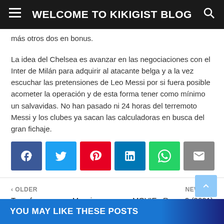WELCOME TO KIKIGIST BLOG
más otros dos en bonus.
La idea del Chelsea es avanzar en las negociaciones con el Inter de Milán para adquirir al atacante belga y a la vez escuchar las pretensiones de Leo Messi por si fuera posible acometer la operación y de esta forma tener como mínimo un salvavidas. No han pasado ni 24 horas del terremoto Messi y los clubes ya sacan las calculadoras en busca del gran fichaje.
[Figure (infographic): Social sharing buttons: Facebook, Twitter, Pinterest, LinkedIn, WhatsApp, Email]
< OLDER
Transfer rumours: Messi, Lukaku, Romero, Odegaard, De Ligt, Milenkovic, Ward-Prowse
NEWER >
MOVIE : Room 9 (2021)
YOU MAY LIKE THESE POSTS